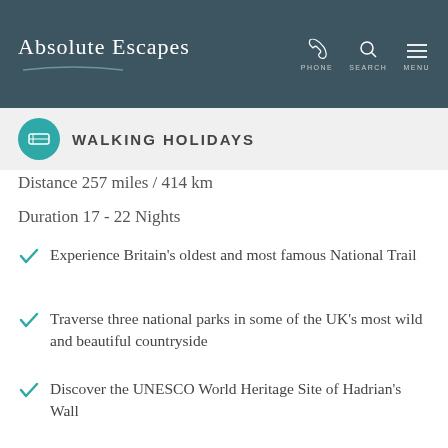Absolute Escapes
WALKING HOLIDAYS
Distance 257 miles / 414 km
Duration 17 - 22 Nights
Experience Britain's oldest and most famous National Trail
Traverse three national parks in some of the UK's most wild and beautiful countryside
Discover the UNESCO World Heritage Site of Hadrian's Wall
Find out more >